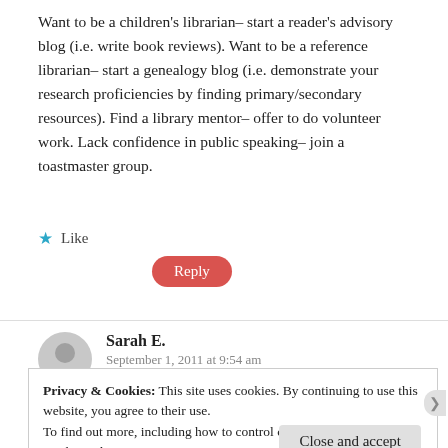Want to be a children's librarian– start a reader's advisory blog (i.e. write book reviews). Want to be a reference librarian– start a genealogy blog (i.e. demonstrate your research proficiencies by finding primary/secondary resources). Find a library mentor– offer to do volunteer work. Lack confidence in public speaking– join a toastmaster group.
★ Like
Reply
Sarah E.
September 1, 2011 at 9:54 am
Privacy & Cookies: This site uses cookies. By continuing to use this website, you agree to their use.
To find out more, including how to control cookies, see here:
Cookie Policy
Close and accept